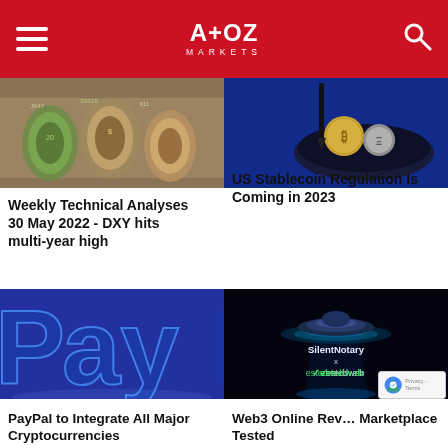A+OZ MARKETS
[Figure (photo): Rolled US dollar bills close-up]
Weekly Technical Analyses 30 May 2022 - DXY hits multi-year high
[Figure (photo): Bitcoin and cryptocurrency coins in a dark bowl on blue background]
US Stablecoin Regulation Is Coming in 2023
[Figure (photo): PayPal glowing 3D logo sign]
PayPal to Integrate All Major Cryptocurrencies
[Figure (photo): SilentNotary x TestedWeb Web3 marketplace promotional image with glowing UFO-style design]
Web3 Online Review Marketplace Tested